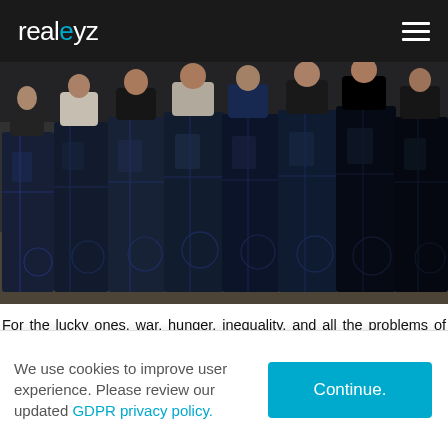realeyz
[Figure (photo): Group of factory workers holding up large dark denim jeans in a factory setting. Multiple workers visible, each displaying a pair of jeans.]
For the lucky ones, war, hunger, inequality, and all the problems of the world in general, are far away and don't touch our daily lives. But in CHINA BLUE, this other world becomes real and so do the people who live in it; people just like us,
We use cookies to improve user experience. Please review our updated GDPR privacy policy.